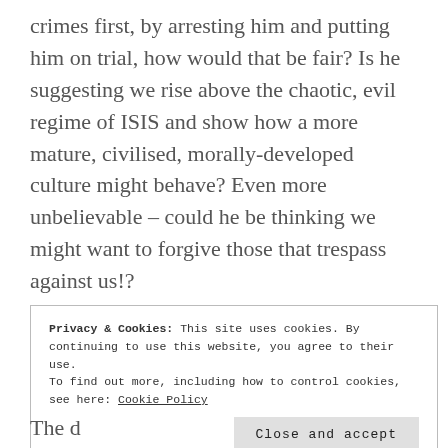crimes first, by arresting him and putting him on trial, how would that be fair? Is he suggesting we rise above the chaotic, evil regime of ISIS and show how a more mature, civilised, morally-developed culture might behave? Even more unbelievable – could he be thinking we might want to forgive those that trespass against us!?
It's not the first time the despicable Mr Corbyn has behaved in this way either – the monster has previous. I recall watching him in a live TV debate and being astonished to hear him saying he wouldn't be
Privacy & Cookies: This site uses cookies. By continuing to use this website, you agree to their use.
To find out more, including how to control cookies, see here: Cookie Policy
Close and accept
The d...